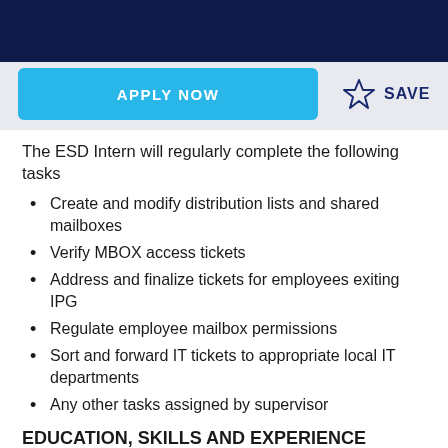APPLY NOW   ☆  SAVE
The ESD Intern will regularly complete the following tasks
Create and modify distribution lists and shared mailboxes
Verify MBOX access tickets
Address and finalize tickets for employees exiting IPG
Regulate employee mailbox permissions
Sort and forward IT tickets to appropriate local IT departments
Any other tasks assigned by supervisor
EDUCATION, SKILLS AND EXPERIENCE